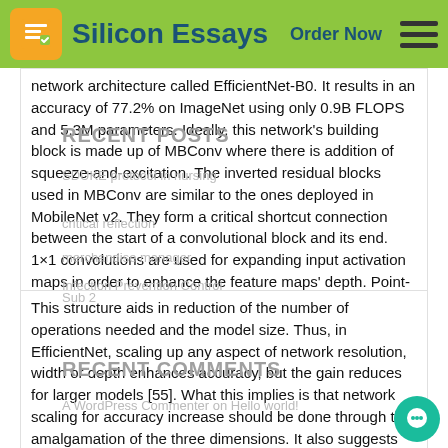Silicon Essays  Order Now
network architecture called EfficientNet-B0. It results in an accuracy of 77.2% on ImageNet using only 0.9B FLOPS and 5.3M parameters. Ideally, this network's building block is made up of MBConv where there is addition of squeeze-and-excitation. The inverted residual blocks used in MBConv are similar to the ones deployed in MobileNet v2. They form a critical shortcut connection between the start of a convolutional block and its end. 1×1 convolutions are used for expanding input activation maps in order to enhance the feature maps' depth. Point-wise and 3×3 Depth-wise convolutions then follow to minimize the number of channels.
RECENT POSTS
SDUKE protocol in nursing
critical reflection
merchandise manager
Sub 2
Infection Prevention Control
RECENT COMMENTS
A WordPress Commenter on Hello world!
This structure aids in reduction of the number of operations needed and the model size. Thus, in EfficientNet, scaling up any aspect of network resolution, width or depth enhances accuracy, but the gain reduces for larger models [55]. What this implies is that network scaling for accuracy increase should be done through the amalgamation of the three dimensions. It also suggests that scaling a single dimension deters the accuracy benefits. More importantly, to pursue better efficiency and